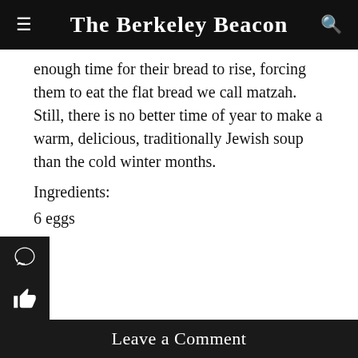The Berkeley Beacon
enough time for their bread to rise, forcing them to eat the flat bread we call matzah. Still, there is no better time of year to make a warm, delicious, traditionally Jewish soup than the cold winter months.
Ingredients:
6 eggs
2 tsp. salt
6 tbsp. oil
Suggest a Correction
Leave a Comment